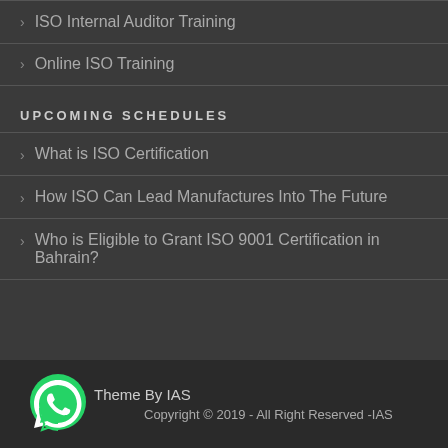ISO Internal Auditor Training
Online ISO Training
UPCOMING SCHEDULES
What is ISO Certification
How ISO Can Lead Manufactures Into The Future
Who is Eligible to Grant ISO 9001 Certification in Bahrain?
Theme By IAS
Copyright © 2019 - All Right Reserved -IAS